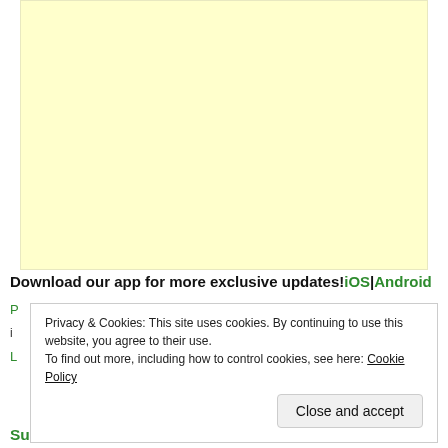[Figure (other): Large light yellow/cream colored rectangular box, likely an advertisement placeholder]
Download our app for more exclusive updates!iOS|Android
Privacy & Cookies: This site uses cookies. By continuing to use this website, you agree to their use.
To find out more, including how to control cookies, see here: Cookie Policy
Close and accept
SugarBoo Meaning – Dua Lipa | I'm Levitating